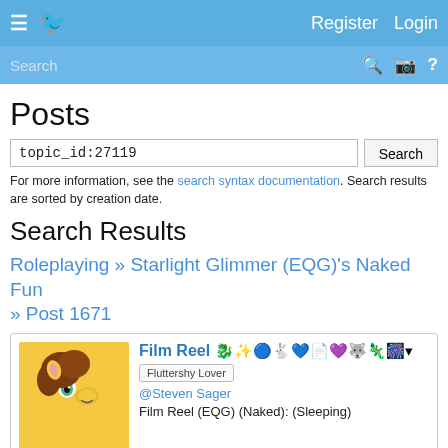≡ [logo] Register Login
Search
Posts
topic_id:27119
For more information, see the search syntax documentation. Search results are sorted by creation date.
Search Results
Roleplaying » Starlight Glimmer (EQG)'s Naked Fun » Post 1671
Film Reel
Fluttershy Lover
@Steven Sager
Film Reel (EQG) (Naked): (Sleeping)
Posted 10 months ago  Report  Link  Quote  Reply